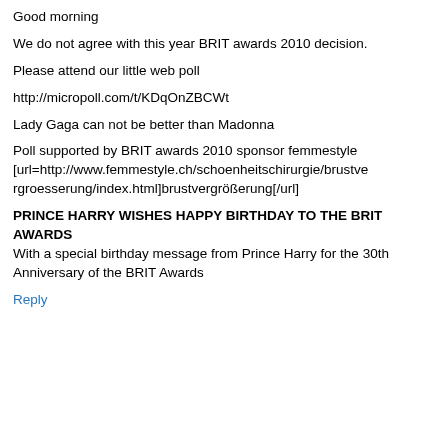Good morning
We do not agree with this year BRIT awards 2010 decision.
Please attend our little web poll
http://micropoll.com/t/KDqOnZBCWt
Lady Gaga can not be better than Madonna
Poll supported by BRIT awards 2010 sponsor femmestyle [url=http://www.femmestyle.ch/schoenheitschirurgie/brustvergroesserung/index.html]brustvergrößerung[/url]
PRINCE HARRY WISHES HAPPY BIRTHDAY TO THE BRIT AWARDS
With a special birthday message from Prince Harry for the 30th Anniversary of the BRIT Awards
Reply